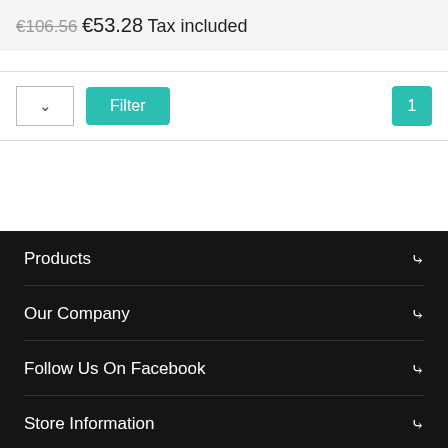€106.56  €53.28 Tax included
Filter
1
Products
Our Company
Follow Us On Facebook
Store Information
You may unsubscribe at any moment. For that purpose, ple find our contact info in the legal notice.